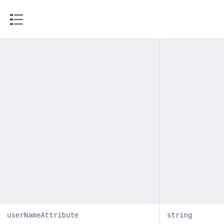| Property | Type |
| --- | --- |
|  |  |
| userNameAttribute | string |
| userUniqueIdAttribute | string |
| website | string (with v... |